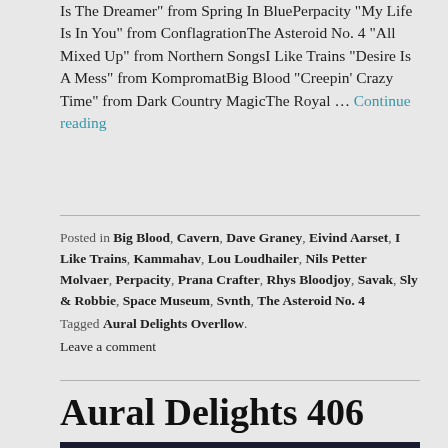Is The Dreamer" from Spring In BluePerpacity "My Life Is In You" from ConflagrationThe Asteroid No. 4 "All Mixed Up" from Northern SongsI Like Trains "Desire Is A Mess" from KompromatBig Blood "Creepin' Crazy Time" from Dark Country MagicThe Royal ... Continue reading
Posted in Big Blood, Cavern, Dave Graney, Eivind Aarset, I Like Trains, Kammahav, Lou Loudhailer, Nils Petter Molvaer, Perpacity, Prana Crafter, Rhys Bloodjoy, Savak, Sly & Robbie, Space Museum, Svnth, The Asteroid No. 4 Tagged Aural Delights Overllow. Leave a comment
Aural Delights 406
[Figure (photo): Dark photo showing two people, partially visible at the bottom of the page]